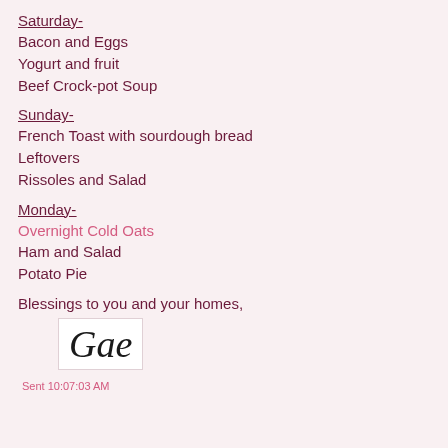Saturday-
Bacon and Eggs
Yogurt and fruit
Beef Crock-pot Soup
Sunday-
French Toast with sourdough bread
Leftovers
Rissoles and Salad
Monday-
Overnight Cold Oats
Ham and Salad
Potato Pie
Blessings to you and your homes,
[Figure (illustration): Cursive handwritten signature reading 'Gae' in black ink on white background]
Sent 10:07:03 AM